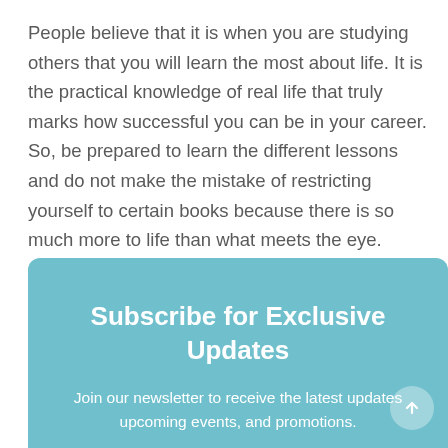People believe that it is when you are studying others that you will learn the most about life. It is the practical knowledge of real life that truly marks how successful you can be in your career. So, be prepared to learn the different lessons and do not make the mistake of restricting yourself to certain books because there is so much more to life than what meets the eye.
Subscribe for Exclusive Updates
Join our newsletter to receive the latest updates upcoming events, and promotions.